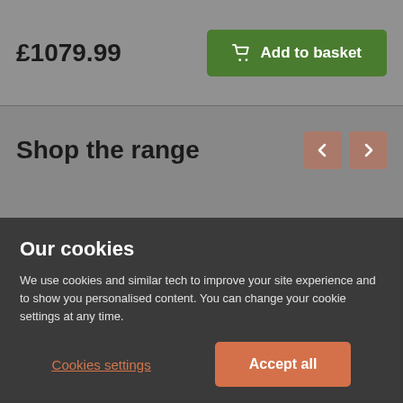£1079.99
Add to basket
Shop the range
[Figure (photo): Two product images showing furniture/room scenes with wishlist heart icons overlaid]
Our cookies
We use cookies and similar tech to improve your site experience and to show you personalised content. You can change your cookie settings at any time.
Cookies settings
Accept all